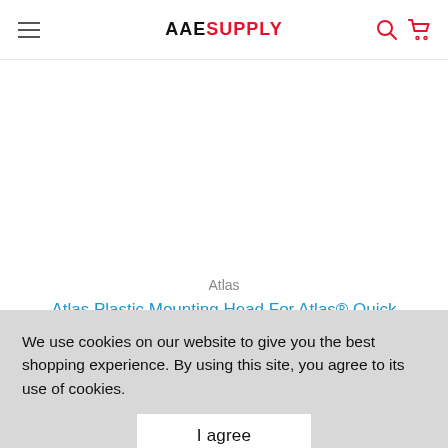AAE SUPPLY
Atlas
Atlas Plastic Mounting Head For Atlas® Quick Change Assembly (Head Only)
$129.00
We use cookies on our website to give you the best shopping experience. By using this site, you agree to its use of cookies.
I agree